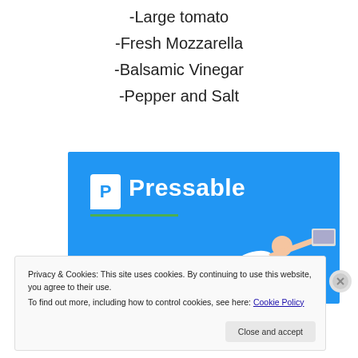-Large tomato
-Fresh Mozzarella
-Balsamic Vinegar
-Pepper and Salt
[Figure (logo): Pressable logo banner with blue background, white P icon, 'Pressable' text, green underline, and a person flying with a laptop]
Privacy & Cookies: This site uses cookies. By continuing to use this website, you agree to their use.
To find out more, including how to control cookies, see here: Cookie Policy
Close and accept